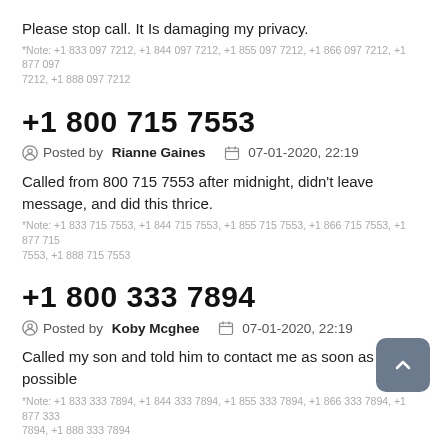Please stop call. It Is damaging my privacy.
*Note: +1 833 097 7212, +1 844 097 7212, +1 855 097 7212, +1 866 097 7212, +1 877 097 7212, +1 888 097 7212
+1 800 715 7553
Posted by Rianne Gaines   07-01-2020, 22:19
Called from 800 715 7553 after midnight, didn't leave message, and did this thrice.
*Note: +1 833 715 7553, +1 844 715 7553, +1 855 715 7553, +1 866 715 7553, +1 877 715 7553, +1 888 715 7553
+1 800 333 7894
Posted by Koby Mcghee   07-01-2020, 22:19
Called my son and told him to contact me as soon as possible
*Note: +1 833 333 7894, +1 844 333 7894, +1 855 333 7894, +1 866 333 7894, +1 877 333 7894, +1 888 333 7894